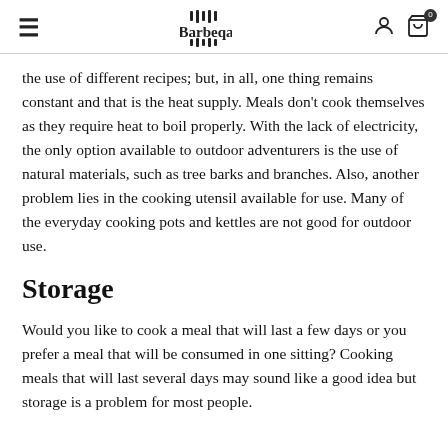Barbeqa
the use of different recipes; but, in all, one thing remains constant and that is the heat supply. Meals don't cook themselves as they require heat to boil properly. With the lack of electricity, the only option available to outdoor adventurers is the use of natural materials, such as tree barks and branches. Also, another problem lies in the cooking utensil available for use. Many of the everyday cooking pots and kettles are not good for outdoor use.
Storage
Would you like to cook a meal that will last a few days or you prefer a meal that will be consumed in one sitting? Cooking meals that will last several days may sound like a good idea but storage is a problem for most people.